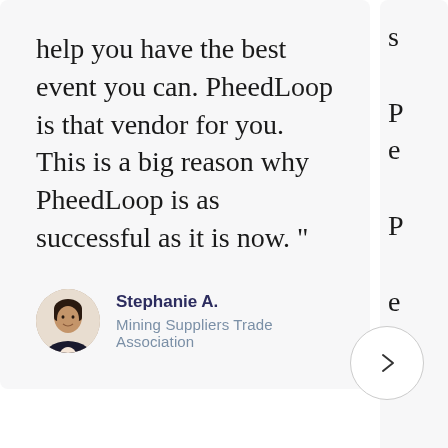help you have the best event you can. PheedLoop is that vendor for you. This is a big reason why PheedLoop is as successful as it is now. "
Stephanie A.
Mining Suppliers Trade Association
[Figure (photo): Circular avatar photo of Stephanie A., a woman with dark hair wearing a dark blazer, with a light background]